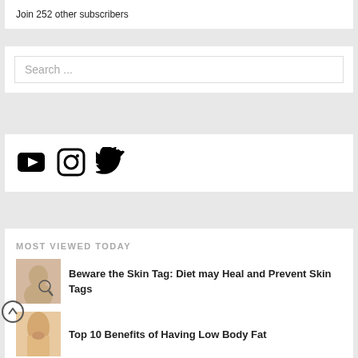Join 252 other subscribers
Search ...
[Figure (infographic): Social media icons: YouTube, Instagram, Twitter]
MOST VIEWED TODAY
[Figure (photo): Thumbnail image of person examining skin tag]
Beware the Skin Tag: Diet may Heal and Prevent Skin Tags
[Figure (photo): Thumbnail image of person's midsection/lower back]
Top 10 Benefits of Having Low Body Fat